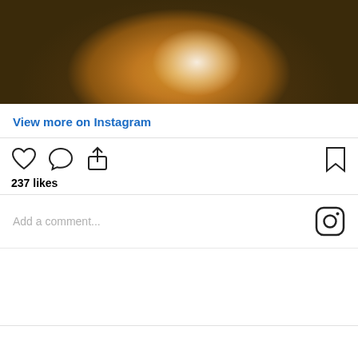[Figure (photo): Close-up photo of a layered coffee drink in a glass with whipped cream and caramel drizzle on a dark background]
View more on Instagram
[Figure (other): Instagram action icons: heart (like), comment bubble, share arrow, and bookmark icon. Shows 237 likes.]
237 likes
Add a comment...